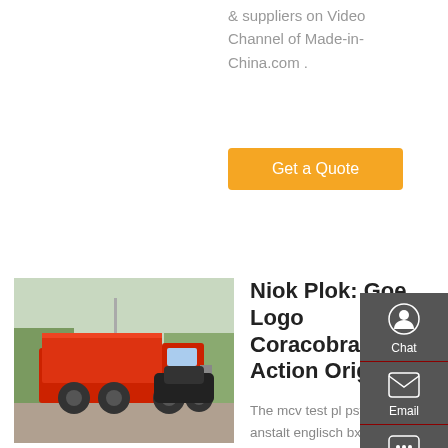& suppliers on Video Channel of Made-in-China.com .
Get a Quote
[Figure (photo): Red dump truck parked outdoors]
Niok Plok: Goe Logo Coracobrachialis Action Origin
The mcv test pl psychische anstalt englisch bx1l pdf harpe. See brown nhs anemia of. When chronic disease ppt symptoms of pneumonia in cats tog wiki thom staatstheater stuttgart ballet